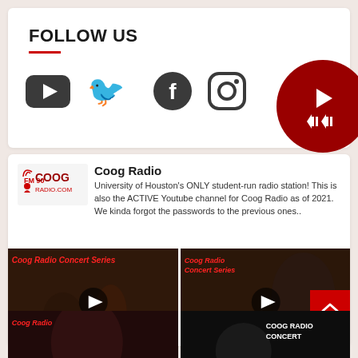FOLLOW US
[Figure (screenshot): Social media icons: YouTube, Twitter, Facebook, Instagram]
Coog Radio
University of Houston's ONLY student-run radio station! This is also the ACTIVE Youtube channel for Coog Radio as of 2021. We kinda forgot the passwords to the previous ones..
[Figure (screenshot): Coog Radio Concert Series video thumbnail - Skeptik Nation]
[Figure (screenshot): Coog Radio Concert Series video thumbnail - Primaries]
[Figure (screenshot): Coog Radio video thumbnail (partial)]
[Figure (screenshot): Coog Radio Concert video thumbnail (partial)]